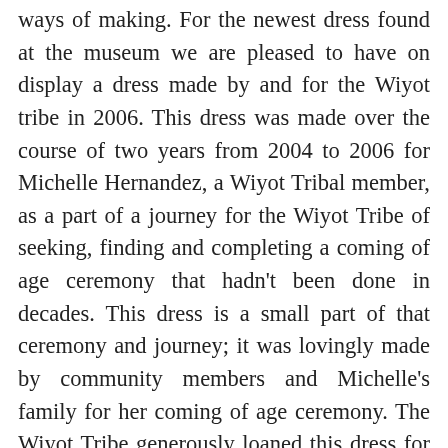ways of making. For the newest dress found at the museum we are pleased to have on display a dress made by and for the Wiyot tribe in 2006. This dress was made over the course of two years from 2004 to 2006 for Michelle Hernandez, a Wiyot Tribal member, as a part of a journey for the Wiyot Tribe of seeking, finding and completing a coming of age ceremony that hadn't been done in decades. This dress is a small part of that ceremony and journey; it was lovingly made by community members and Michelle's family for her coming of age ceremony. The Wiyot Tribe generously loaned this dress for the spring for this Women's Ceremonial Dress exhibit. This dress is a connecting point of a revival of ceremony, of making and coming together as a tribal community. The dress here more than a finished project, it is made of deerskin, shells, beads and represents hours of prayer and artistry.